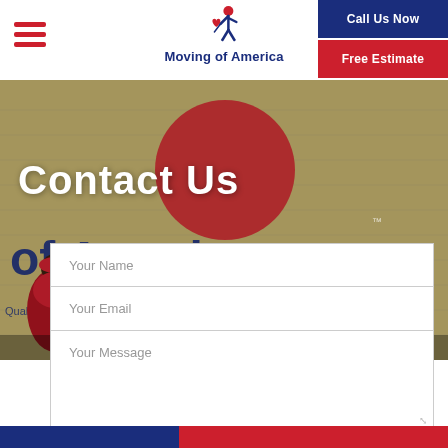[Figure (screenshot): Website screenshot for Moving of America contact page. Shows header with hamburger menu, logo with movers figure and text, Call Us Now and Free Estimate buttons. Background hero image shows workers in red shirts in front of a Moving of America branded truck. Contact Us heading is overlaid on the hero. Below are form fields for Your Name, Your Email, Your Message. Bottom has a blue and red bar.]
Contact Us
Your Name
Your Email
Your Message